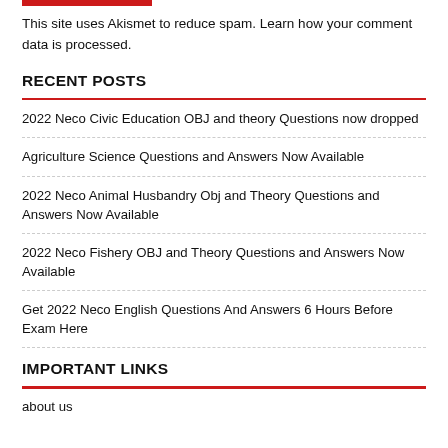This site uses Akismet to reduce spam. Learn how your comment data is processed.
RECENT POSTS
2022 Neco Civic Education OBJ and theory Questions now dropped
Agriculture Science Questions and Answers Now Available
2022 Neco Animal Husbandry Obj and Theory Questions and Answers Now Available
2022 Neco Fishery OBJ and Theory Questions and Answers Now Available
Get 2022 Neco English Questions And Answers 6 Hours Before Exam Here
IMPORTANT LINKS
about us